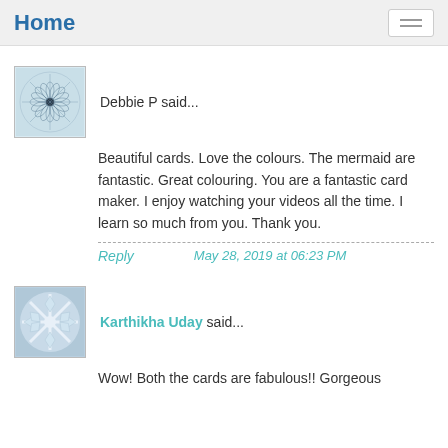Home
[Figure (illustration): Avatar icon with circular geometric spiral pattern on light blue background]
Debbie P said...
Beautiful cards. Love the colours. The mermaid are fantastic. Great colouring. You are a fantastic card maker. I enjoy watching your videos all the time. I learn so much from you. Thank you.
Reply      May 28, 2019 at 06:23 PM
[Figure (illustration): Avatar icon with star/snowflake geometric pattern on blue background]
Karthikha Uday said...
Wow! Both the cards are fabulous!! Gorgeous